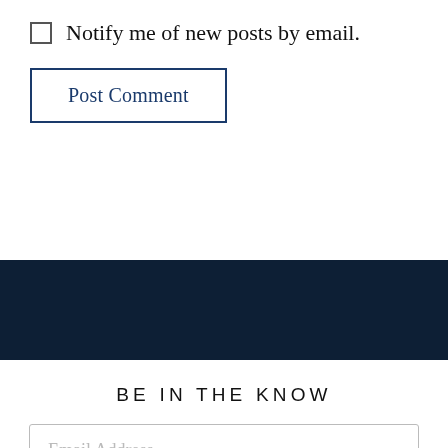Notify me of new posts by email.
Post Comment
BE IN THE KNOW
Email Address
SIGN UP NOW